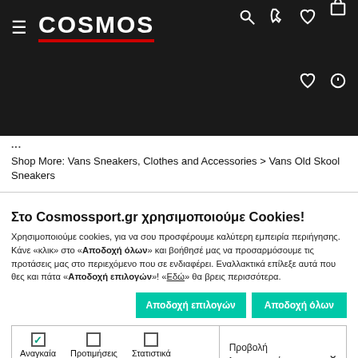COSMOS — navigation bar with logo, hamburger menu, search, phone, heart, bag, account icons
Shop More: Vans Sneakers, Clothes and Accessories > Vans Old Skool Sneakers
Στο Cosmossport.gr χρησιμοποιούμε Cookies!
Χρησιμοποιούμε cookies, για να σου προσφέρουμε καλύτερη εμπειρία περιήγησης. Κάνε «κλικ» στο «Αποδοχή όλων» και βοήθησέ μας να προσαρμόσουμε τις προτάσεις μας στο περιεχόμενο που σε ενδιαφέρει. Εναλλακτικά επίλεξε αυτά που θες και πάτα «Αποδοχή επιλογών»! «Εδώ» θα βρεις περισσότερα.
| ☑ Αναγκαία  ☐ Προτιμήσεις  ☐ Στατιστικά  ☐ Εμπορικής προώθησης | Προβολή λεπτομερειών ˅ |